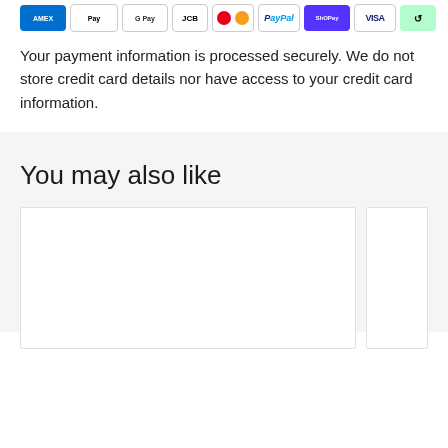[Figure (other): Row of payment method icons: American Express, Apple Pay, Google Pay, JCB, Mastercard, PayPal, Shop Pay, Visa, Afterpay]
Your payment information is processed securely. We do not store credit card details nor have access to your credit card information.
You may also like
[Figure (other): Two product card placeholders (partially visible, white boxes on gray background)]